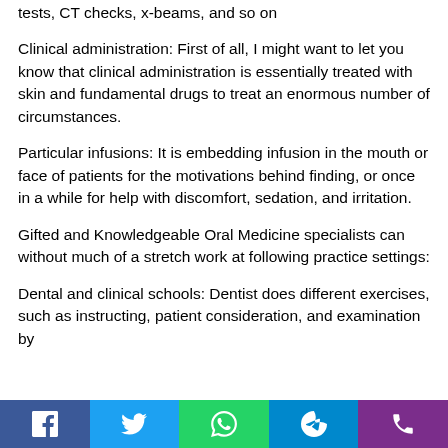tests, CT checks, x-beams, and so on
Clinical administration: First of all, I might want to let you know that clinical administration is essentially treated with skin and fundamental drugs to treat an enormous number of circumstances.
Particular infusions: It is embedding infusion in the mouth or face of patients for the motivations behind finding, or once in a while for help with discomfort, sedation, and irritation.
Gifted and Knowledgeable Oral Medicine specialists can without much of a stretch work at following practice settings:
Dental and clinical schools: Dentist does different exercises, such as instructing, patient consideration, and examination by
Facebook | Twitter | WhatsApp | Telegram | Phone